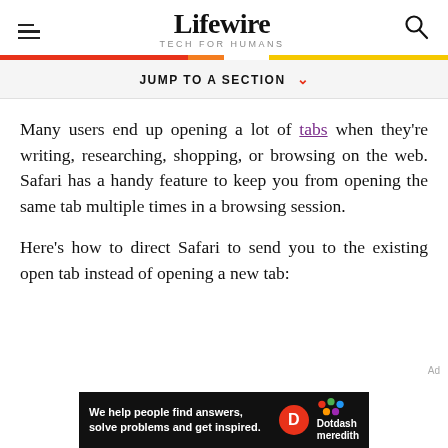Lifewire — TECH FOR HUMANS
JUMP TO A SECTION
Many users end up opening a lot of tabs when they're writing, researching, shopping, or browsing on the web. Safari has a handy feature to keep you from opening the same tab multiple times in a browsing session.
Here's how to direct Safari to send you to the existing open tab instead of opening a new tab:
[Figure (other): Dotdash Meredith advertisement banner at bottom: 'We help people find answers, solve problems and get inspired.' with D logo and Dotdash Meredith logo]